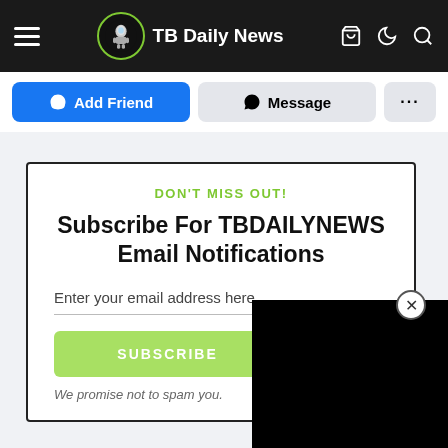TB Daily News
[Figure (screenshot): Facebook-style Add Friend, Message, and More action buttons]
DON'T MISS OUT!
Subscribe For TBDAILYNEWS Email Notifications
Enter your email address here...
SUBSCRIBE
We promise not to spam you.